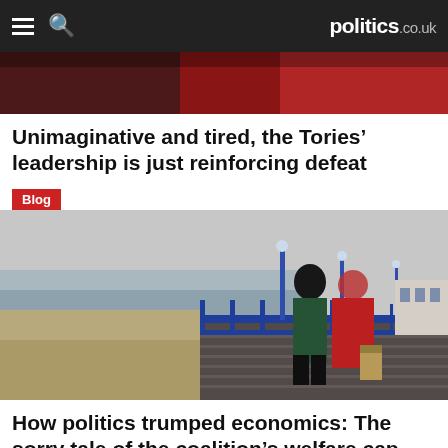politics.co.uk
[Figure (photo): Top partial photo with red/dark tones, partially cropped]
Unimaginative and tired, the Tories' leadership is just reinforcing defeat
Blog
[Figure (photo): Two elderly people walking on a seaside pier, one in green jacket and one in red jacket carrying a bag, blue railings and lamp posts, beach and sea in background]
How politics trumped economics: The sorry tale of the coalition's welfare cap
News
[Figure (photo): Bottom partial photo with warm golden tones, partially cropped]